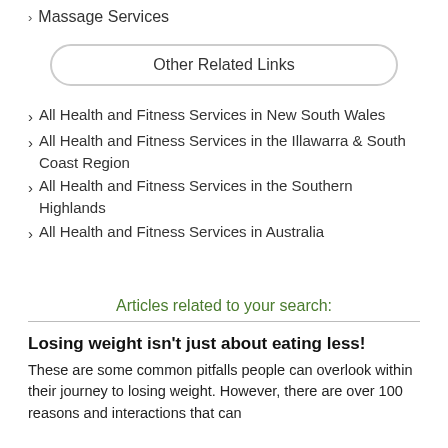› Massage Services
Other Related Links
› All Health and Fitness Services in New South Wales
› All Health and Fitness Services in the Illawarra & South Coast Region
› All Health and Fitness Services in the Southern Highlands
› All Health and Fitness Services in Australia
Articles related to your search:
Losing weight isn't just about eating less!
These are some common pitfalls people can overlook within their journey to losing weight. However, there are over 100 reasons and interactions that can